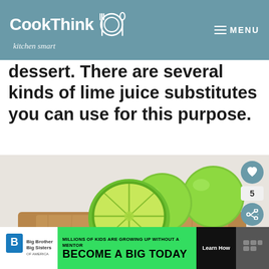CookThink kitchen smart — MENU
dessert. There are several kinds of lime juice substitutes you can use for this purpose.
[Figure (photo): Limes on a wooden cutting board — whole limes and a halved lime showing the interior, with a lime wedge in the foreground, against a light background]
WHAT'S NEXT → 19+ Ketchup Substitute...
MILLIONS OF KIDS ARE GROWING UP WITHOUT A MENTOR. BECOME A BIG TODAY — Learn How